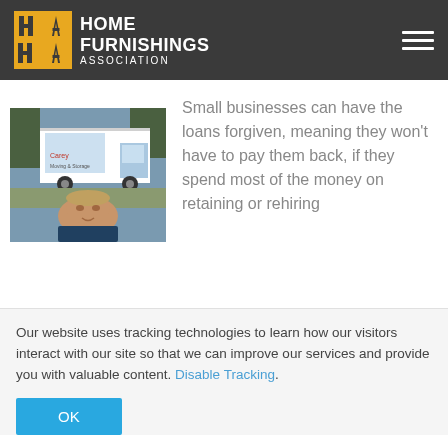HOME FURNISHINGS ASSOCIATION
[Figure (photo): Photo of a man in front of a moving/delivery truck with company branding]
Small businesses can have the loans forgiven, meaning they won't have to pay them back, if they spend most of the money on retaining or rehiring
Our website uses tracking technologies to learn how our visitors interact with our site so that we can improve our services and provide you with valuable content. Disable Tracking.
OK